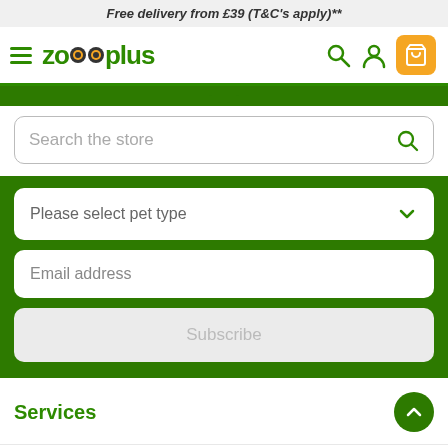Free delivery from £39 (T&C's apply)**
[Figure (screenshot): Zooplus mobile website header with hamburger menu, logo, search icon, user icon, and orange cart button]
Search the store
Please select pet type
Email address
Subscribe
Services
Advantages